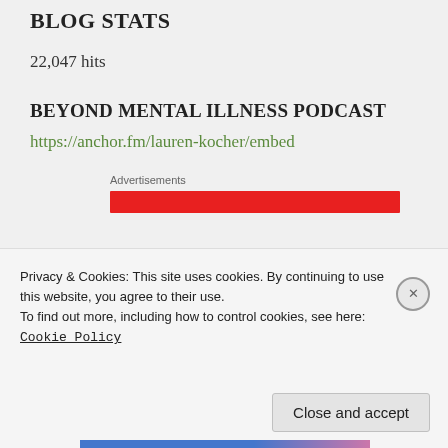BLOG STATS
22,047 hits
BEYOND MENTAL ILLNESS PODCAST
https://anchor.fm/lauren-kocher/embed
Advertisements
[Figure (other): Red advertisement banner bar]
Privacy & Cookies: This site uses cookies. By continuing to use this website, you agree to their use.
To find out more, including how to control cookies, see here:
Cookie Policy
Close and accept